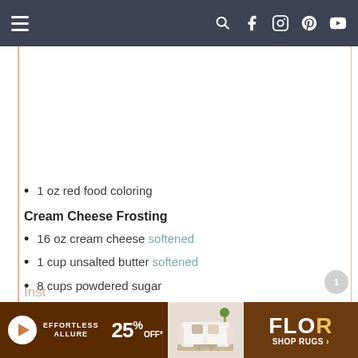Navigation bar with menu, search, Facebook, Instagram, Pinterest, YouTube icons
1 oz red food coloring
Cream Cheese Frosting
16 oz cream cheese softened
1 cup unsalted butter softened
8 cups powdered sugar
1 tbsp milk
2 tsp vanilla extract
Directions
[Figure (other): Advertisement banner for FLOR rugs showing 25% off offer with sofa image]